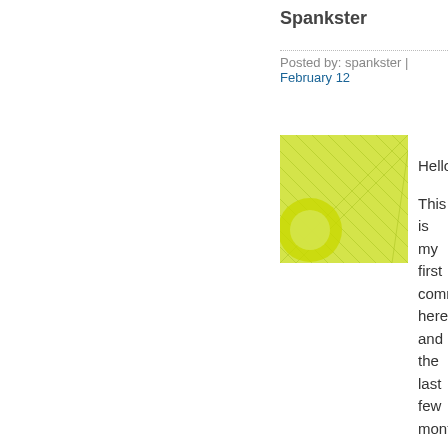Spankster
Posted by: spankster | February 12
[Figure (photo): Green starburst/grid avatar image]
Hello,

This is my first comment here and the last few months.

I am a brazilian living in the U interesting to hear you guys t noticing (differences about th

It is funny now that I found yo head I actually pictured Kinse out I was picturing Milton.

Keep up the good work.
Posted by: Rafael | March 02, 2010
[Figure (photo): Blue/gray radial pattern avatar image]
Rafael,
Thanks. I've found that podca expect just from hearing them